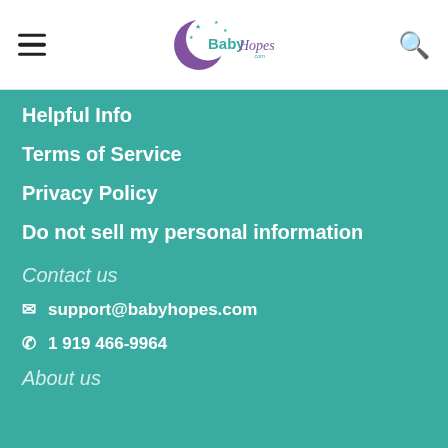BabyHopes.com header with hamburger menu and search icon
Helpful Info
Terms of Service
Privacy Policy
Do not sell my personal information
Contact us
support@babyhopes.com
1 919 466-9964
About us